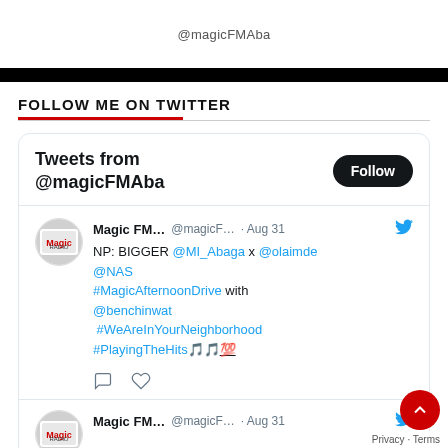@magicFMAba
FOLLOW ME ON TWITTER
Tweets from @magicFMAba
Magic FM... @magicF... · Aug 31 NP: BIGGER @MI_Abaga x @olaimde @NAS #MagicAfternoonDrive with @benchinwat #WeAreInYourNeighborhood #PlayingTheHits🎵🎵💯
Magic FM... @magicF... · Aug 31